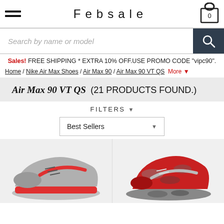Febsale
Search by name or model
Sales! FREE SHIPPING * EXTRA 10% OFF.USE PROMO CODE "vipc90".
Home / Nike Air Max Shoes / Air Max 90 / Air Max 90 VT QS  More ▼
Air Max 90 VT QS  (21 PRODUCTS FOUND.)
FILTERS ▼
Best Sellers ▼
[Figure (photo): Nike Air Max 90 VT QS sneaker in grey and red colorway, side view]
[Figure (photo): Nike Air Max 90 VT QS sneaker in red and grey camouflage colorway, angled top view]